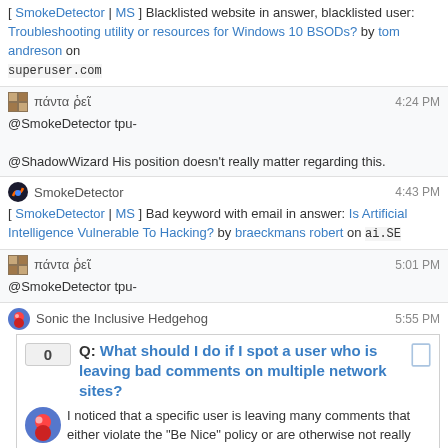[ SmokeDetector | MS ] Blacklisted website in answer, blacklisted user: Troubleshooting utility or resources for Windows 10 BSODs? by tom andreson on superuser.com
πάντα ῥεῖ 4:24 PM
@SmokeDetector tpu-
@ShadowWizard His position doesn't really matter regarding this.
SmokeDetector 4:43 PM
[ SmokeDetector | MS ] Bad keyword with email in answer: Is Artificial Intelligence Vulnerable To Hacking? by braeckmans robert on ai.SE
πάντα ῥεῖ 5:01 PM
@SmokeDetector tpu-
Sonic the Inclusive Hedgehog 5:55 PM
[Figure (other): Question card: Q: What should I do if I spot a user who is leaving bad comments on multiple network sites? Score: 0. Tags: support, comments, flags, network-profile, comment-flags]
πάντα ῥεῖ 6:00 PM (partial)